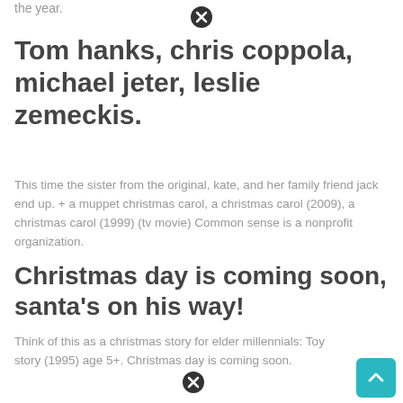the year.
Tom hanks, chris coppola, michael jeter, leslie zemeckis.
This time the sister from the original, kate, and her family friend jack end up. + a muppet christmas carol, a christmas carol (2009), a christmas carol (1999) (tv movie) Common sense is a nonprofit organization.
Christmas day is coming soon, santa's on his way!
Think of this as a christmas story for elder millennials: Toy story (1995) age 5+. Christmas day is coming soon.